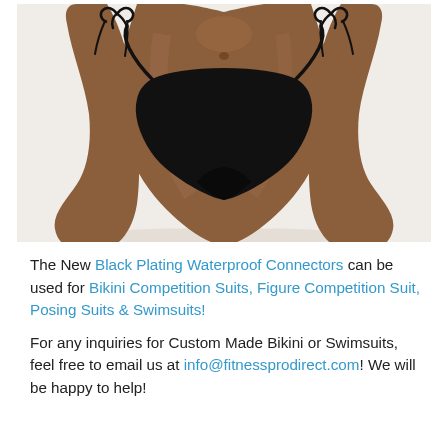[Figure (photo): A brown mannequin torso wearing a black bikini bottom with side tie strings, photographed against a white background.]
The New Black Plating Waterproof Connectors can be used for Bikini Competition Suits, Figure Competition Suit, Posing Suits & Swimsuits!
For any inquiries for Custom Made Bikini or Swimsuits, feel free to email us at info@fitnessprodirect.com! We will be happy to help!